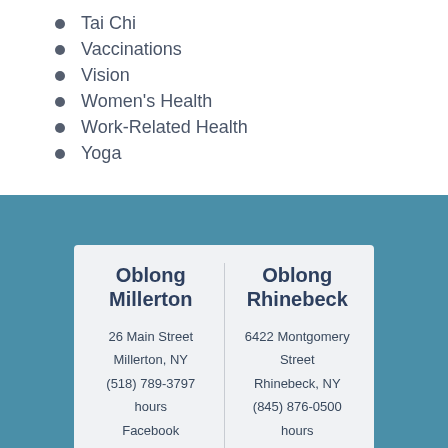Tai Chi
Vaccinations
Vision
Women's Health
Work-Related Health
Yoga
Oblong Millerton
26 Main Street
Millerton, NY
(518) 789-3797
hours
Facebook
Oblong Rhinebeck
6422 Montgomery Street
Rhinebeck, NY
(845) 876-0500
hours
Facebook